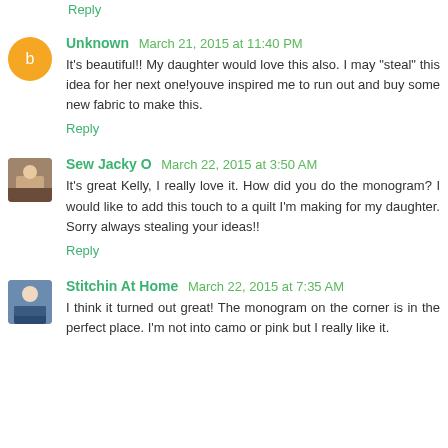Reply (partial, top of page)
Unknown  March 21, 2015 at 11:40 PM
It's beautiful!! My daughter would love this also. I may "steal" this idea for her next one!youve inspired me to run out and buy some new fabric to make this.
Reply
Sew Jacky O  March 22, 2015 at 3:50 AM
It's great Kelly, I really love it. How did you do the monogram? I would like to add this touch to a quilt I'm making for my daughter. Sorry always stealing your ideas!!
Reply
Stitchin At Home  March 22, 2015 at 7:35 AM
I think it turned out great! The monogram on the corner is in the perfect place. I'm not into camo or pink but I really like it.